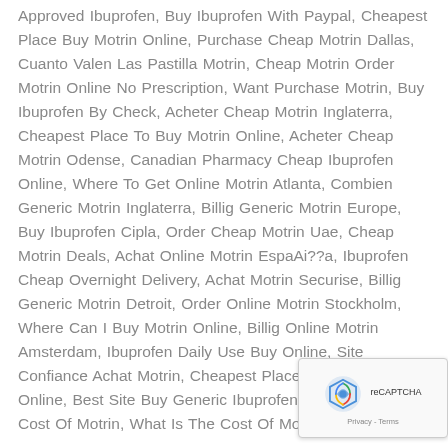Approved Ibuprofen, Buy Ibuprofen With Paypal, Cheapest Place Buy Motrin Online, Purchase Cheap Motrin Dallas, Cuanto Valen Las Pastilla Motrin, Cheap Motrin Order Motrin Online No Prescription, Want Purchase Motrin, Buy Ibuprofen By Check, Acheter Cheap Motrin Inglaterra, Cheapest Place To Buy Motrin Online, Acheter Cheap Motrin Odense, Canadian Pharmacy Cheap Ibuprofen Online, Where To Get Online Motrin Atlanta, Combien Generic Motrin Inglaterra, Billig Generic Motrin Europe, Buy Ibuprofen Cipla, Order Cheap Motrin Uae, Cheap Motrin Deals, Achat Online Motrin EspaAi??a, Ibuprofen Cheap Overnight Delivery, Achat Motrin Securise, Billig Generic Motrin Detroit, Order Online Motrin Stockholm, Where Can I Buy Motrin Online, Billig Online Motrin Amsterdam, Ibuprofen Daily Use Buy Online, Site Confiance Achat Motrin, Cheapest Place To Buy Ibuprofen Online, Best Site Buy Generic Ibuprofen, Average Monthly Cost Of Motrin, What Is The Cost Of Motrin, KAi?...
[Figure (other): reCAPTCHA widget overlay in bottom-right corner showing the reCAPTCHA logo and 'Privacy - Terms' text]